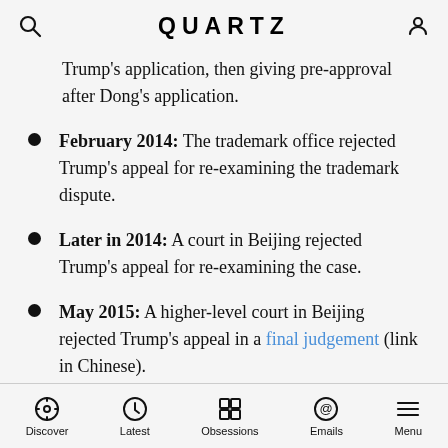QUARTZ
Trump's application, then giving pre-approval after Dong's application.
February 2014: The trademark office rejected Trump's appeal for re-examining the trademark dispute.
Later in 2014: A court in Beijing rejected Trump's appeal for re-examining the case.
May 2015: A higher-level court in Beijing rejected Trump's appeal in a final judgement (link in Chinese).
June 2015: Trump filed an application to ask the trademark office to invalidate Dong's right to use the "TRUMP" mark. Meanwhile, the trademark authority
Discover | Latest | Obsessions | Emails | Menu